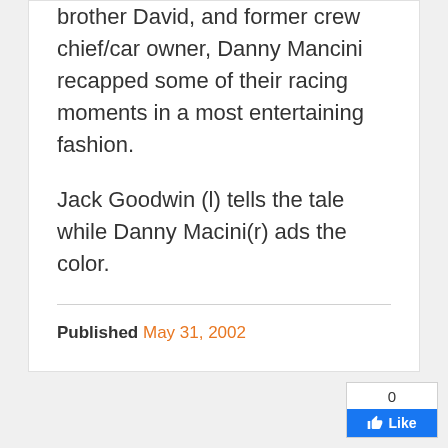brother David, and former crew chief/car owner, Danny Mancini recapped some of their racing moments in a most entertaining fashion.
Jack Goodwin (l) tells the tale while Danny Macini(r) ads the color.
Published May 31, 2002